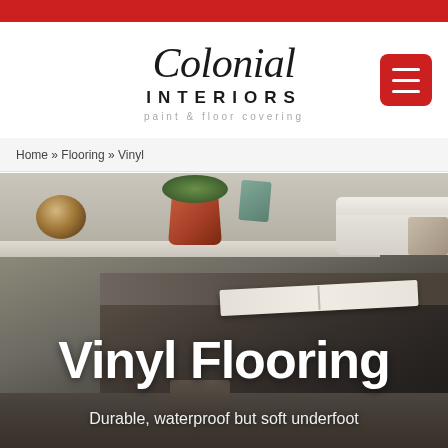Colonial Interiors — paint & floor covering
Home » Flooring » Vinyl
[Figure (photo): Interior room scene with a dark wood coffee table holding an open book, a shelf in the background with a wooden sphere and potted plant, and a white sofa on the right. The floor appears to be vinyl/hardwood style.]
Vinyl Flooring
Durable, waterproof but soft underfoot